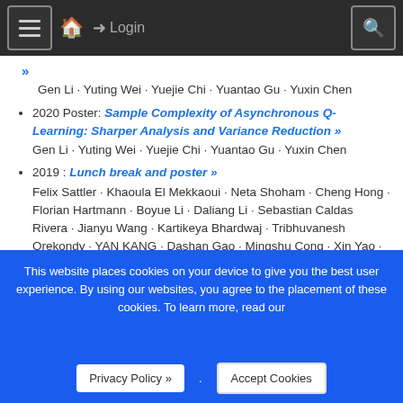≡ 🏠 Login 🔍
»
Gen Li · Yuting Wei · Yuejie Chi · Yuantao Gu · Yuxin Chen
2020 Poster: Sample Complexity of Asynchronous Q-Learning: Sharper Analysis and Variance Reduction »
Gen Li · Yuting Wei · Yuejie Chi · Yuantao Gu · Yuxin Chen
2019 : Lunch break and poster »
Felix Sattler · Khaoula El Mekkaoui · Neta Shoham · Cheng Hong · Florian Hartmann · Boyue Li · Daliang Li · Sebastian Caldas Rivera · Jianyu Wang · Kartikeya Bhardwaj · Tribhuvanesh Orekondy · YAN KANG · Dashan Gao · Mingshu Cong · Xin Yao · Songtao Lu · JIAHUAN LUO · Shicong Cen · Peter Kairouz · Yihan Jiang · Tzu Ming Hsu · Aleksei Triastcyn · Yang Liu · Ahmed Khaled Ragab Bayoumi · Zhicong Liang · Boi Faltings · Seungwhan Moon · Suyi Li ·
This website places cookies on your device to give you the best user experience. By using our websites, you agree to the placement of these cookies. To learn more, read our Privacy Policy ».